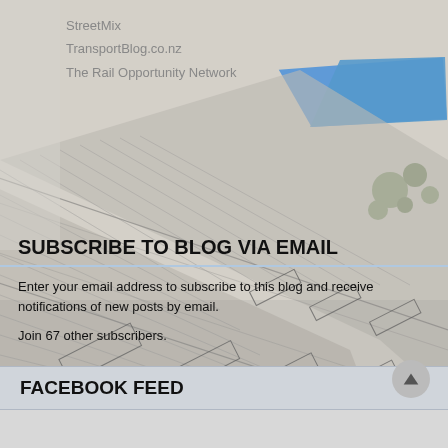StreetMix
TransportBlog.co.nz
The Rail Opportunity Network
[Figure (map): Aerial/architectural map showing street layout with blue highlighted area and hatched road markings]
SUBSCRIBE TO BLOG VIA EMAIL
Enter your email address to subscribe to this blog and receive notifications of new posts by email.
Join 67 other subscribers.
FACEBOOK FEED